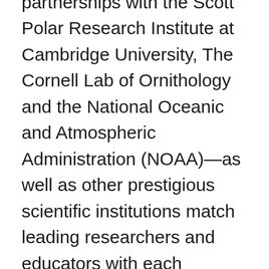expedition setting. Exclusive partnerships with the Scott Polar Research Institute at Cambridge University, The Cornell Lab of Ornithology and the National Oceanic and Atmospheric Administration (NOAA)—as well as other prestigious scientific institutions match leading researchers and educators with each expedition. Thirty-six experts accompany each journey as part of the Viking Expedition Team, including an Expedition Leader and support staff, photographer, field research scientists, general naturalists, mountain guides, kayak guides, submarine pilots and specialists (ornithology, geology, higher predator biology and history). On board, guests will enjoy daily briefings and world-class lectures about their destination. On shore, they can assist in fieldwork or interact through experiential activities during landings—such as monitoring birds to help identify migratory patterns; accompanying scientists to collect samples; or